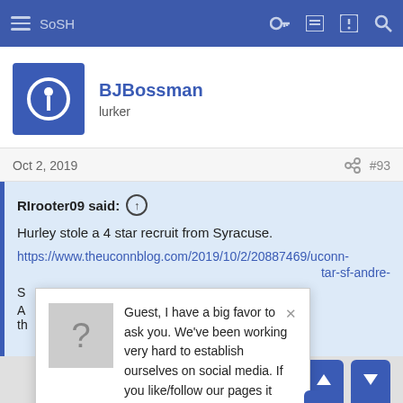SoSH
BJBossman
lurker
Oct 2, 2019   #93
RIrooter09 said: ↑
Hurley stole a 4 star recruit from Syracuse.
https://www.theuconnblog.com/2019/10/2/20887469/uconn-...tar-sf-andre-
S...
A... got them back in th...
Guest, I have a big favor to ask you. We've been working very hard to establish ourselves on social media. If you like/follow our pages it would be a HUGE help to us. SoSH on Facebook and Inside the Pylon Thanks! Nip